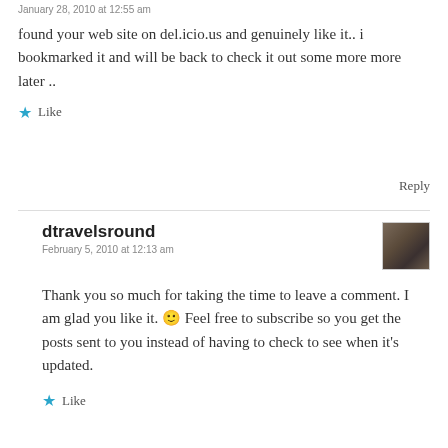January 28, 2010 at 12:55 am
found your web site on del.icio.us and genuinely like it.. i bookmarked it and will be back to check it out some more more later ..
Like
Reply
dtravelsround
February 5, 2010 at 12:13 am
Thank you so much for taking the time to leave a comment. I am glad you like it. 🙂 Feel free to subscribe so you get the posts sent to you instead of having to check to see when it's updated.
Like